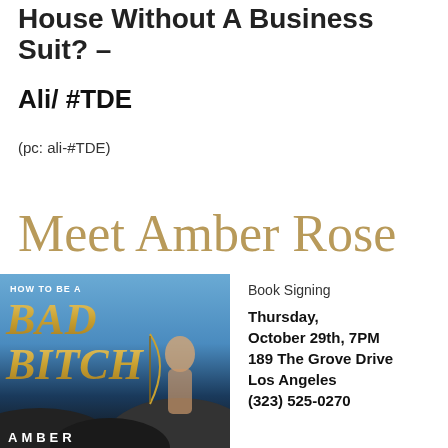House Without A Business Suit? –
Ali/ #TDE
(pc: ali-#TDE)
Meet Amber Rose
[Figure (photo): Book cover for 'How To Be A Bad Bitch' by Amber Rose, showing a woman posed on rocks with a bow, against a blue sky and ocean background. The title text is in large gold letters.]
Book Signing
Thursday, October 29th, 7PM
189 The Grove Drive
Los Angeles
(323) 525-0270